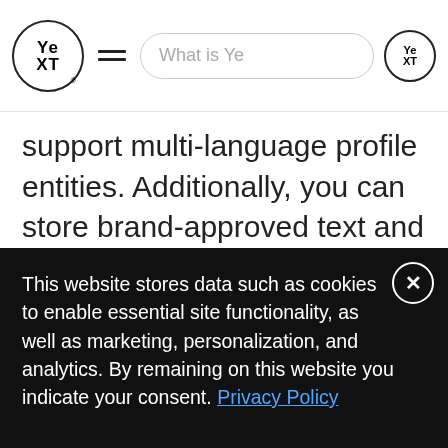[Figure (screenshot): Yext website header with logo, hamburger menu, and search bar reading 'What is Ye' with a small Yext logo on the right end of the search bar]
support multi-language profile entities. Additionally, you can store brand-approved text and photo assets to ensure quick and consistent application.
[Figure (screenshot): Notification card from Yext showing: Manhattan Hardware in Phoenix, AZ has a new 5-star review on Facebook from Erin J.: "Wonderful store. They always have a huge selection of paint colors!".]
This website stores data such as cookies to enable essential site functionality, as well as marketing, personalization, and analytics. By remaining on this website you indicate your consent. Privacy Policy